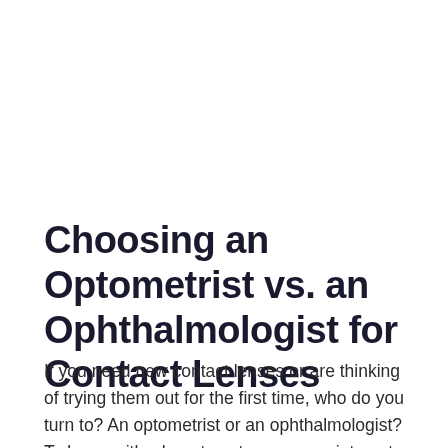Choosing an Optometrist vs. an Ophthalmologist for Contact Lenses
If you need new contact lenses or are thinking of trying them out for the first time, who do you turn to? An optometrist or an ophthalmologist? To know with whom to set up an appointment, it’s important to understand the differences in eye care professionals.